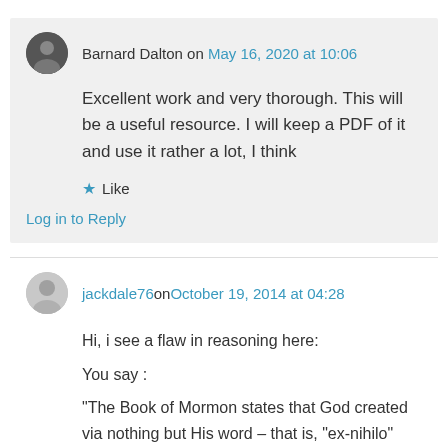Barnard Dalton on May 16, 2020 at 10:06
Excellent work and very thorough. This will be a useful resource. I will keep a PDF of it and use it rather a lot, I think
★ Like
Log in to Reply
jackdale76 on October 19, 2014 at 04:28
Hi, i see a flaw in reasoning here:
You say :
“The Book of Mormon states that God created via nothing but His word – that is, “ex-nihilo” (out of nothing)”